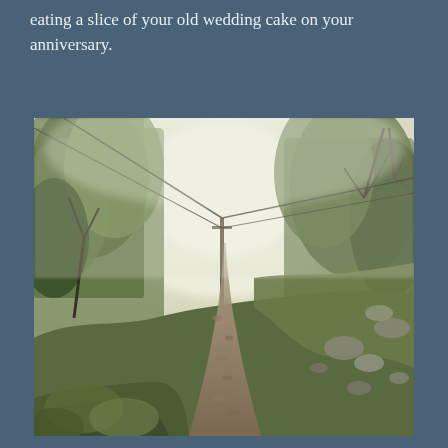eating a slice of your old wedding cake on your anniversary.
[Figure (photo): A foggy forest path or trail leading uphill through green trees, with power lines or cables visible overhead disappearing into the bright misty background. The path is rocky and muddy.]